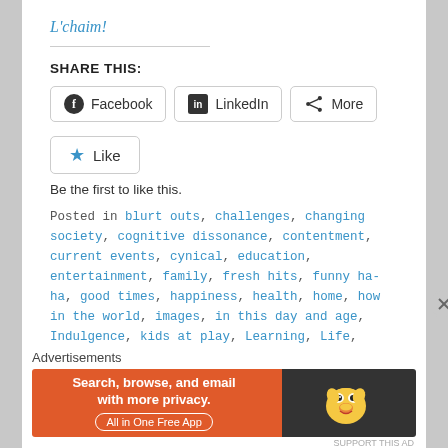L'chaim!
SHARE THIS:
Facebook  LinkedIn  More
Like
Be the first to like this.
Posted in blurt outs, challenges, changing society, cognitive dissonance, contentment, current events, cynical, education, entertainment, family, fresh hits, funny ha-ha, good times, happiness, health, home, how in the world, images, in this day and age, Indulgence, kids at play, Learning, Life, life's lessons, looped, Love, matter of fact, me-time, men&women, MLM, modern families, mother and child, musing, nature, parenting, people
Advertisements
[Figure (infographic): DuckDuckGo advertisement banner: orange background on left with text 'Search, browse, and email with more privacy. All in One Free App', dark background on right with DuckDuckGo logo (duck icon).]